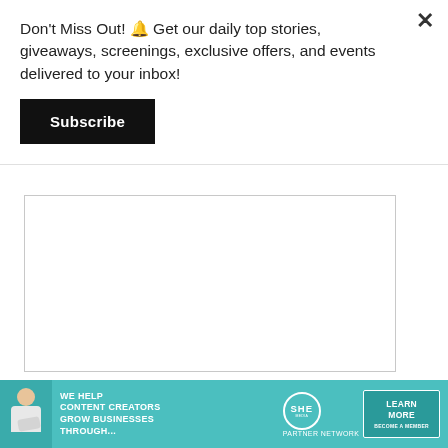Don't Miss Out! 🔔 Get our daily top stories, giveaways, screenings, exclusive offers, and events delivered to your inbox!
[Figure (other): Black Subscribe button]
[Figure (other): Large empty text area input box for comment]
Name...
[Figure (other): Advertisement banner: WE HELP CONTENT CREATORS GROW BUSINESSES THROUGH... SHE PARTNER NETWORK BECOME A MEMBER - LEARN MORE button]